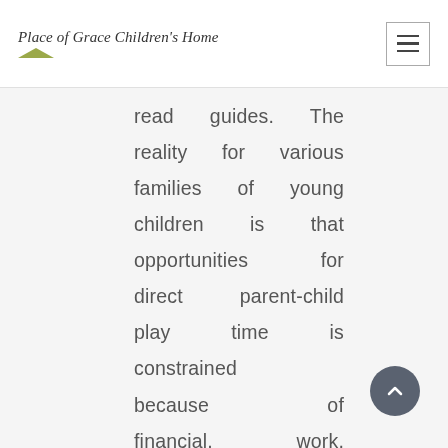Place of Grace Children's Home
read guides. The reality for various families of young children is that opportunities for direct parent-child play time is constrained because of financial, work, and different familial factors. Besides the kids